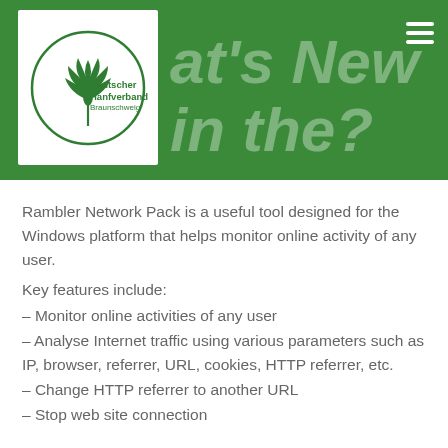[Figure (logo): Deutscher Hanfverband Braunschweig logo — circular border with cannabis leaf icon and organization name inside, on green banner header background with partially visible italic bold text 'at's New in the?' and hamburger menu icon]
Rambler Network Pack is a useful tool designed for the Windows platform that helps monitor online activity of any user.
Key features include:
– Monitor online activities of any user
– Analyse Internet traffic using various parameters such as IP, browser, referrer, URL, cookies, HTTP referrer, etc.
– Change HTTP referrer to another URL
– Stop web site connection